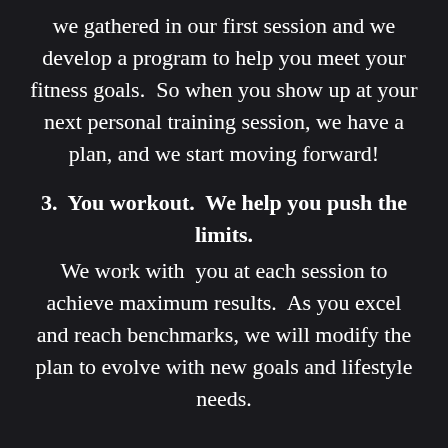we gathered in our first session and we develop a program to help you meet your fitness goals.  So when you show up at your next personal training session, we have a plan, and we start moving forward!
3.  You workout.  We help you push the limits.
We work with  you at each session to achieve maximum results.  As you excel and reach benchmarks, we will modify the plan to evolve with new goals and lifestyle needs.